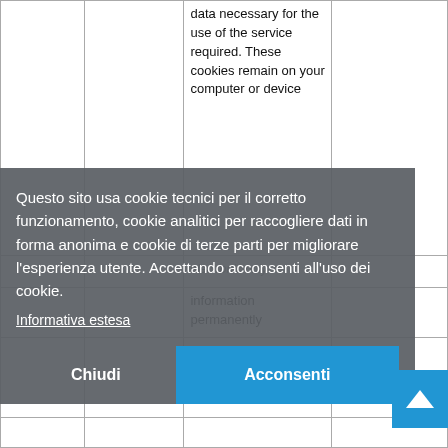|  |  |  |  |
| --- | --- | --- | --- |
|  |  | data necessary for the use of the service required. These cookies remain on your computer or device |  |
|  |  | electronic only |  |
|  |  | information permanently |  |
|  |  | and are deleted once closed the browser |  |
Questo sito usa cookie tecnici per il corretto funzionamento, cookie analitici per raccogliere dati in forma anonima e cookie di terze parti per migliorare l'esperienza utente. Accettando acconsenti all'uso dei cookie.
Informativa estesa
Chiudi
Acconsenti